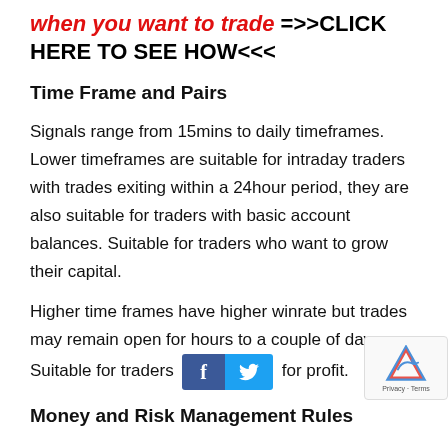when you want to trade =>>CLICK HERE TO SEE HOW<<<
Time Frame and Pairs
Signals range from 15mins to daily timeframes. Lower timeframes are suitable for intraday traders with trades exiting within a 24hour period, they are also suitable for traders with basic account balances. Suitable for traders who want to grow their capital.
Higher time frames have higher winrate but trades may remain open for hours to a couple of days. Suitable for traders [social buttons] for profit.
Money and Risk Management Rules